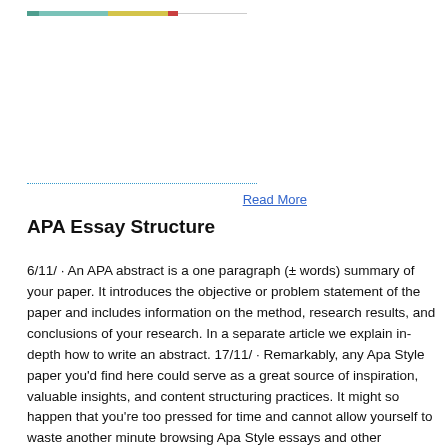Read More
APA Essay Structure
6/11/ · An APA abstract is a one paragraph (± words) summary of your paper. It introduces the objective or problem statement of the paper and includes information on the method, research results, and conclusions of your research. In a separate article we explain in-depth how to write an abstract. 17/11/ · Remarkably, any Apa Style paper you'd find here could serve as a great source of inspiration, valuable insights, and content structuring practices. It might so happen that you're too pressed for time and cannot allow yourself to waste another minute browsing Apa Style essays and other samples. In such a case